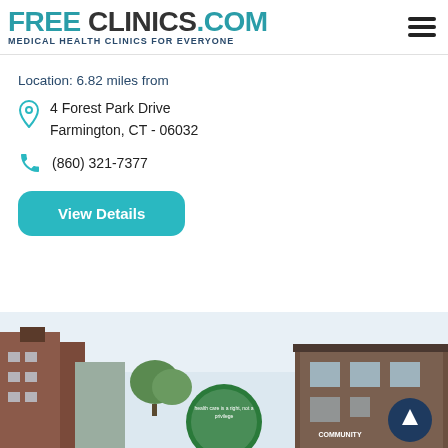FREE CLINICS.COM Medical Health Clinics For Everyone
Location: 6.82 miles from
4 Forest Park Drive
Farmington, CT - 06032
(860) 321-7377
View Details
[Figure (photo): Exterior photo showing two brick buildings and a circular community health center sign between them, with trees in background and a back-to-top arrow button overlay]